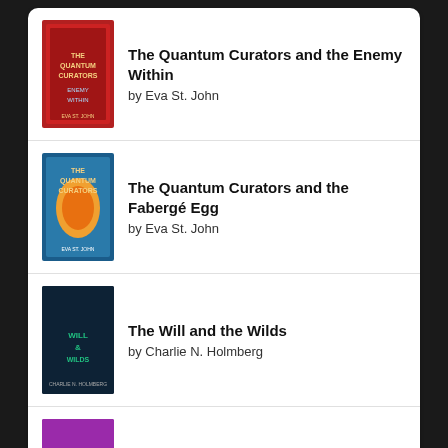The Quantum Curators and the Enemy Within by Eva St. John
The Quantum Curators and the Fabergé Egg by Eva St. John
The Will and the Wilds by Charlie N. Holmberg
Smoke in the Sun by Renée Ahdieh
[Figure (logo): goodreads logo button with rounded rectangle border]
TAGS